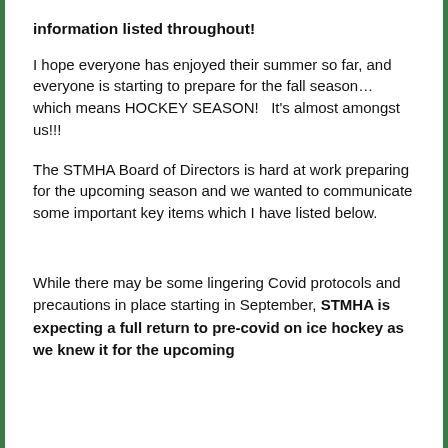information listed throughout!
I hope everyone has enjoyed their summer so far, and everyone is starting to prepare for the fall season… which means HOCKEY SEASON!   It's almost amongst us!!!
The STMHA Board of Directors is hard at work preparing for the upcoming season and we wanted to communicate some important key items which I have listed below.
While there may be some lingering Covid protocols and precautions in place starting in September, STMHA is expecting a full return to pre-covid on ice hockey as we knew it for the upcoming